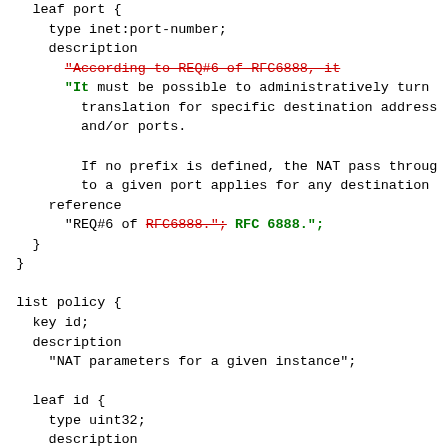Code snippet showing YANG data model diff with deletions in red strikethrough and insertions in green bold, covering leaf port, list policy, leaf id, and container clat-parameters blocks.